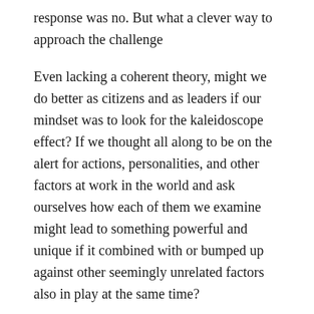response was no. But what a clever way to approach the challenge
Even lacking a coherent theory, might we do better as citizens and as leaders if our mindset was to look for the kaleidoscope effect? If we thought all along to be on the alert for actions, personalities, and other factors at work in the world and ask ourselves how each of them we examine might lead to something powerful and unique if it combined with or bumped up against other seemingly unrelated factors also in play at the same time?
There is not much new in suggesting we look for hidden meanings and deeper connections,